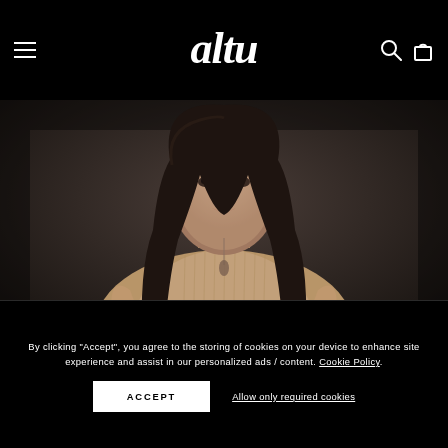altu — navigation bar with hamburger menu, logo, search and cart icons
[Figure (photo): Fashion photo of a young brunette woman wearing a ribbed tan/beige knit oversized sweater with a pendant necklace, photographed against a dark charcoal background in a studio setting]
By clicking "Accept", you agree to the storing of cookies on your device to enhance site experience and assist in our personalized ads / content. Cookie Policy.
ACCEPT
Allow only required cookies